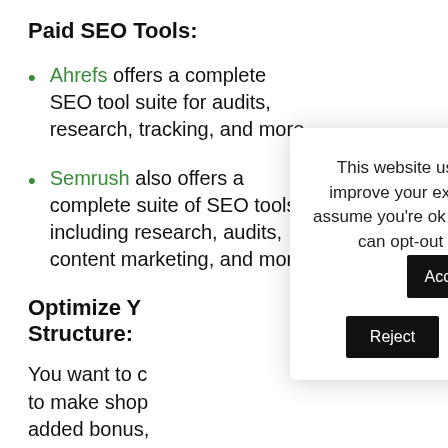Paid SEO Tools:
Ahrefs offers a complete SEO tool suite for audits, research, tracking, and more.
Semrush also offers a complete suite of SEO tools including research, audits, content marketing, and more.
Optimize Yo… Structure:
You want to c… to make sho… added bonus… easier for sear… site is organize…
This website uses cookies to improve your experience. We'll assume you're ok with this, but you can opt-out if you wish. Accept Reject Read More